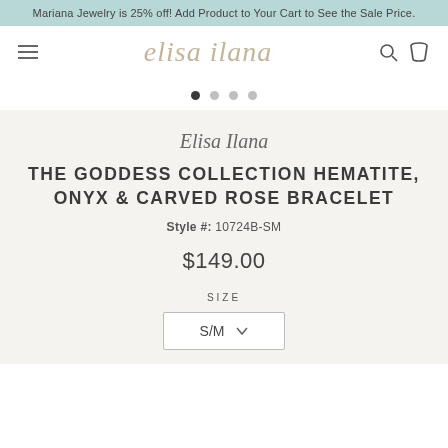Mariana Jewelry is 25% off! Add Product to Your Cart to See the Sale Price.
elisa ilana
[Figure (screenshot): Navigation bar with hamburger menu icon, elisa ilana logo in cursive tan/beige font, search and cart icons]
[Figure (other): Carousel pagination dots: 4 dots, first one filled/dark, remaining 3 lighter grey]
Elisa Ilana
THE GODDESS COLLECTION HEMATITE, ONYX & CARVED ROSE BRACELET
Style #: 10724B-SM
$149.00
SIZE
S/M